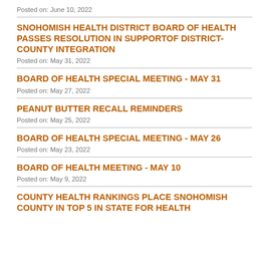Posted on: June 10, 2022
SNOHOMISH HEALTH DISTRICT BOARD OF HEALTH PASSES RESOLUTION IN SUPPORTOF DISTRICT-COUNTY INTEGRATION
Posted on: May 31, 2022
BOARD OF HEALTH SPECIAL MEETING - MAY 31
Posted on: May 27, 2022
PEANUT BUTTER RECALL REMINDERS
Posted on: May 25, 2022
BOARD OF HEALTH SPECIAL MEETING - MAY 26
Posted on: May 23, 2022
BOARD OF HEALTH MEETING - MAY 10
Posted on: May 9, 2022
COUNTY HEALTH RANKINGS PLACE SNOHOMISH COUNTY IN TOP 5 IN STATE FOR HEALTH